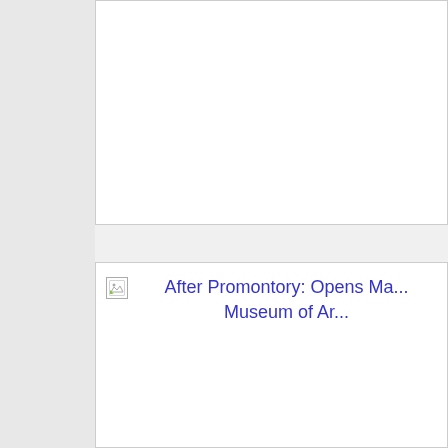[Figure (other): White content box at top, partially visible, with light gray border]
After Promontory: Opens Ma... Museum of Ar...